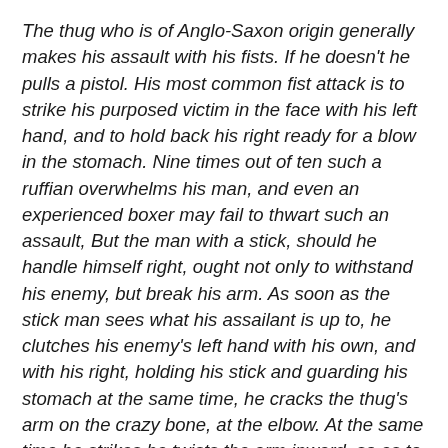The thug who is of Anglo-Saxon origin generally makes his assault with his fists. If he doesn't he pulls a pistol. His most common fist attack is to strike his purposed victim in the face with his left hand, and to hold back his right ready for a blow in the stomach. Nine times out of ten such a ruffian overwhelms his man, and even an experienced boxer may fail to thwart such an assault, But the man with a stick, should he handle himself right, ought not only to withstand his enemy, but break his arm. As soon as the stick man sees what his assailant is up to, he clutches his enemy's left hand with his own, and with his right, holding his stick and guarding his stomach at the same time, he cracks the thug's arm on the crazy bone, at the elbow. At the same time he strikes he twists the arm inward, so as to make the pain of the blow still more acute. If the stick man wants to strike hard enough he can break a thug's arm in